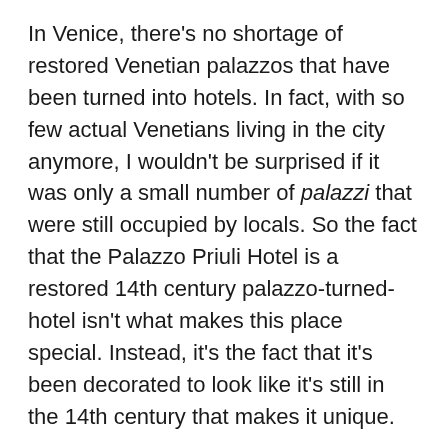In Venice, there's no shortage of restored Venetian palazzos that have been turned into hotels. In fact, with so few actual Venetians living in the city anymore, I wouldn't be surprised if it was only a small number of palazzi that were still occupied by locals. So the fact that the Palazzo Priuli Hotel is a restored 14th century palazzo-turned-hotel isn't what makes this place special. Instead, it's the fact that it's been decorated to look like it's still in the 14th century that makes it unique.
The furnishings in the Hotel Palazzo Priuli aren't 14th century antiques – but they're modern replicas of said antiques, and filling the hotel with pieces from when it was a brand-new building makes a stay in this hotel particularly special. There are 27 rooms to choose from, each one individually decorated, and if it weren't for the modern amenities every hotel has you'd feel like you'd stepped back in time in any one of the guestrooms.